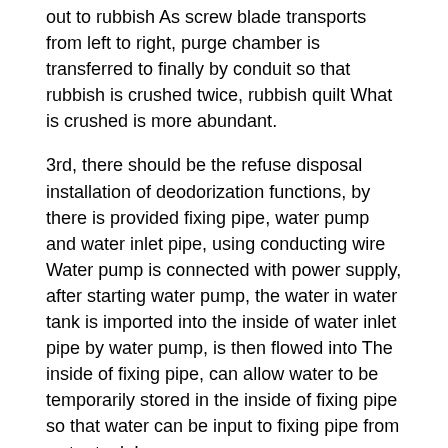out to rubbish As screw blade transports from left to right, purge chamber is transferred to finally by conduit so that rubbish is crushed twice, rubbish quilt What is crushed is more abundant.
3rd, there should be the refuse disposal installation of deodorization functions, by there is provided fixing pipe, water pump and water inlet pipe, using conducting wire Water pump is connected with power supply, after starting water pump, the water in water tank is imported into the inside of water inlet pipe by water pump, is then flowed into The inside of fixing pipe, can allow water to be temporarily stored in the inside of fixing pipe so that water can be input to fixing pipe from water tank In.
4th, there should be the refuse disposal installation of deodorization functions, by the way that there is provided the 3rd output shaft, the 3rd motor, funnel, work 3rd motor, is connected by dynamic casing, outlet pipe and apopore with conducting wire with power supply, after starting the 3rd motor, the 3rd motor Output terminal drives the rotation of the 3rd output shaft, and the 3rd output shaft drives moving casing rotation, rotating moving casing and the 3rd output Water in fixing pipe is input to the inside of moving